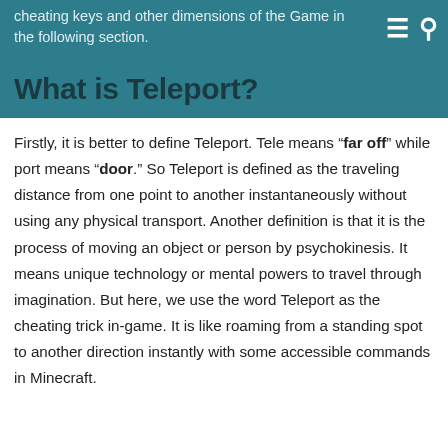cheating keys and other dimensions of the Game in the following section.
What is Teleport?
Firstly, it is better to define Teleport. Tele means “far off” while port means “door.” So Teleport is defined as the traveling distance from one point to another instantaneously without using any physical transport. Another definition is that it is the process of moving an object or person by psychokinesis. It means unique technology or mental powers to travel through imagination. But here, we use the word Teleport as the cheating trick in-game. It is like roaming from a standing spot to another direction instantly with some accessible commands in Minecraft.